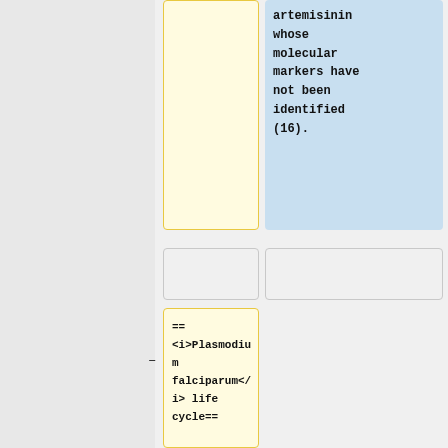artemisinin whose molecular markers have not been identified (16).
== <i>Plasmodium falciparum</i> life cycle==
[[Image:Plasmodium life cycle.jpg|thumb|500px|right|Figure 2.